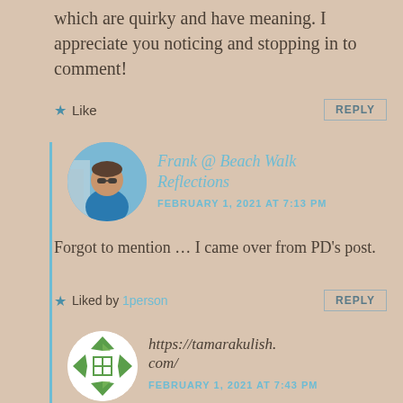which are quirky and have meaning. I appreciate you noticing and stopping in to comment!
Like
REPLY
Frank @ Beach Walk Reflections
FEBRUARY 1, 2021 AT 7:13 PM
Forgot to mention … I came over from PD's post.
Liked by 1 person
REPLY
[Figure (photo): Round avatar photo of Frank, a man wearing sunglasses and a blue shirt, standing near water with buildings in background]
https://tamarakulish.com/
FEBRUARY 1, 2021 AT 7:43 PM
[Figure (logo): Round avatar with green geometric pattern (interlocking diamond/cross shapes) on white background]